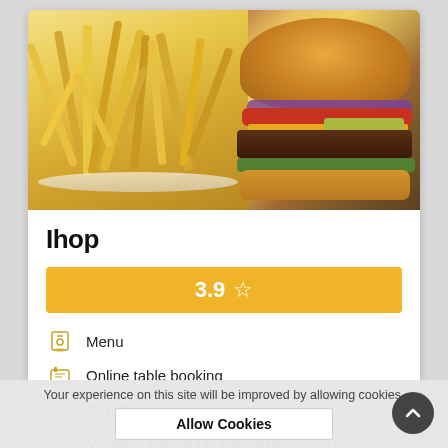[Figure (photo): Food photo showing french fries on left and a large burger with cheese, tomato, onion, lettuce, and pickles on right, on a white plate]
Ihop
3.9 ☆
Menu
Online table booking
City: Tallahassee, 2225 N Monroe St
Morgens kannst Du hier ein leckeres un...
Your experience on this site will be improved by allowing cookies.
Allow Cookies